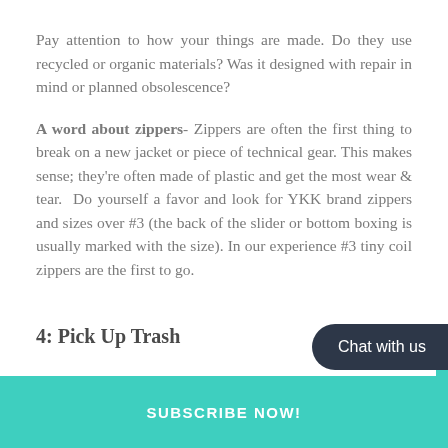Pay attention to how your things are made. Do they use recycled or organic materials? Was it designed with repair in mind or planned obsolescence?
A word about zippers- Zippers are often the first thing to break on a new jacket or piece of technical gear. This makes sense; they're often made of plastic and get the most wear & tear.  Do yourself a favor and look for YKK brand zippers and sizes over #3 (the back of the slider or bottom boxing is usually marked with the size). In our experience #3 tiny coil zippers are the first to go.
4: Pick Up Trash
Chat with us
SUBSCRIBE NOW!